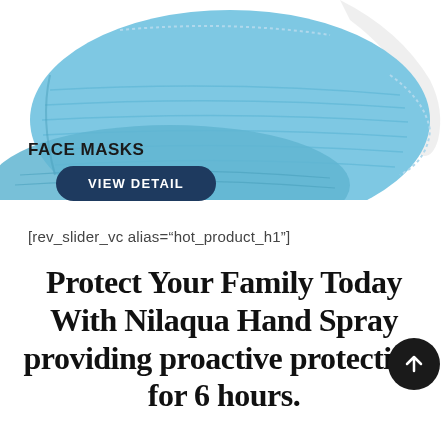[Figure (photo): Photograph of blue surgical face masks stacked, viewed from an angle showing pleated folds and ear strap against a white background. Upper half of image.]
FACE MASKS
VIEW DETAIL
[rev_slider_vc alias="hot_product_h1"]
Protect Your Family Today With Nilaqua Hand Spray providing proactive protection for 6 hours.